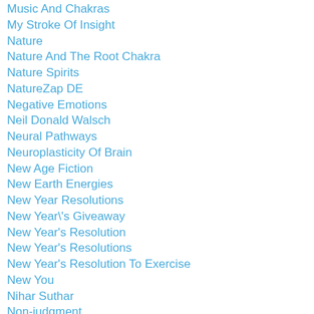Music And Chakras
My Stroke Of Insight
Nature
Nature And The Root Chakra
Nature Spirits
NatureZap DE
Negative Emotions
Neil Donald Walsch
Neural Pathways
Neuroplasticity Of Brain
New Age Fiction
New Earth Energies
New Year Resolutions
New Year\'s Giveaway
New Year's Resolution
New Year's Resolutions
New Year's Resolution To Exercise
New You
Nihar Suthar
Non-judgment